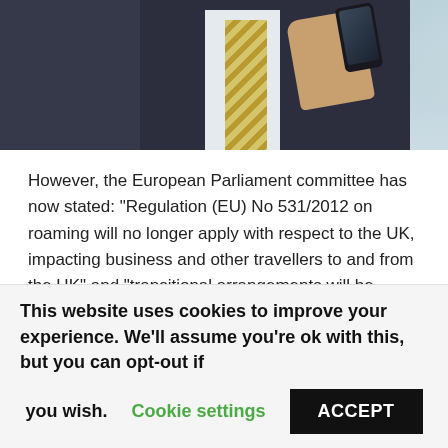[Figure (photo): A man in a dark pinstripe suit and striped tie holding a mobile phone, photographed from chest level outdoors near a glass building.]
However, the European Parliament committee has now stated: “Regulation (EU) No 531/2012 on roaming will no longer apply with respect to the UK, impacting business and other travellers to and from the UK” and “transitional arrangements will be necessary”.
It could be reversed if the UK government is able to strike a deal with the union.
This website uses cookies to improve your experience. We’ll assume you’re ok with this, but you can opt-out if you wish. Cookie settings ACCEPT